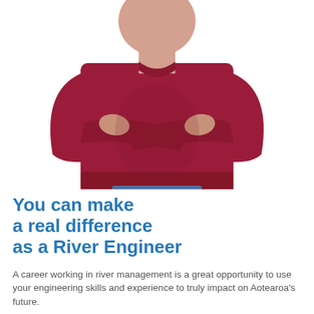[Figure (photo): A person wearing a dark red/maroon sweatshirt with arms crossed, photographed from chest level, on a white background.]
You can make a real difference as a River Engineer
A career working in river management is a great opportunity to use your engineering skills and experience to truly impact on Aotearoa's future.